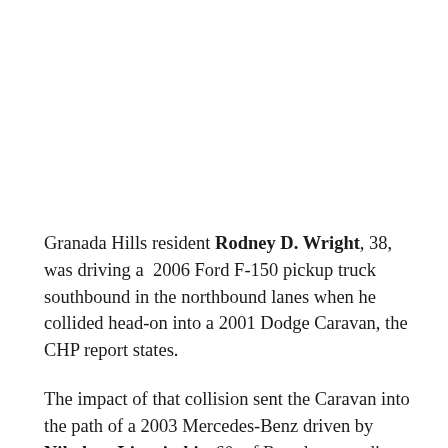Granada Hills resident Rodney D. Wright, 38, was driving a  2006 Ford F-150 pickup truck southbound in the northbound lanes when he collided head-on into a 2001 Dodge Caravan, the CHP report states.
The impact of that collision sent the Caravan into the path of a 2003 Mercedes-Benz driven by Nikolaos Linaritakis, 60, of Reseda, according to the CHP report.